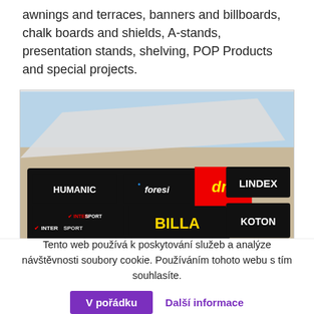awnings and terraces, banners and billboards, chalk boards and shields, A-stands, presentation stands, shelving, POP Products and special projects.
[Figure (photo): Photo of a shopping center exterior facade showing multiple illuminated brand signs: HUMANIC, Foresi, dm, LINDEX, INTERSPORT, BILLA, KOTON]
Tento web používá k poskytování služeb a analýze návštěvnosti soubory cookie. Používáním tohoto webu s tím souhlasíte. V pořádku  Další informace